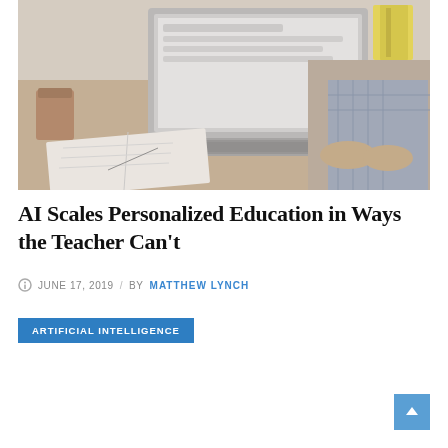[Figure (photo): Person in plaid shirt typing on a MacBook laptop at a wooden desk, with an open notebook and cup visible nearby]
AI Scales Personalized Education in Ways the Teacher Can't
JUNE 17, 2019 / BY MATTHEW LYNCH
ARTIFICIAL INTELLIGENCE